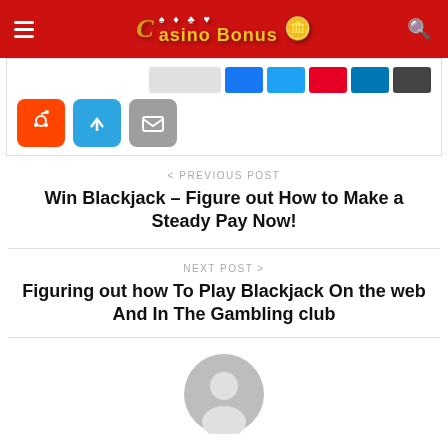Casino Bonus
[Figure (other): Social share buttons row: small colored buttons (Facebook, Twitter, Pinterest, LinkedIn, etc.) and below: Reddit (orange), Telegram (blue), Email (gray) square icon buttons]
< PREVIOUS POST
Win Blackjack – Figure out How to Make a Steady Pay Now!
NEXT POST >
Figuring out how To Play Blackjack On the web And In The Gambling club
[Figure (illustration): Generic user avatar (gray circle with person silhouette)]